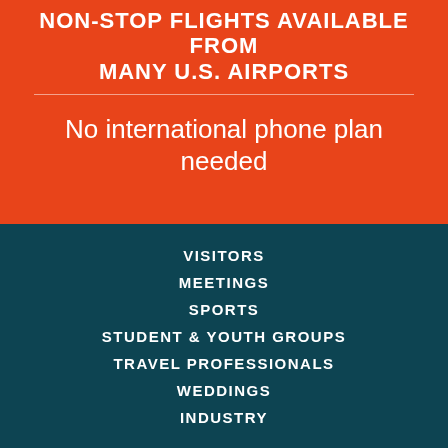NON-STOP FLIGHTS AVAILABLE FROM MANY U.S. AIRPORTS
No international phone plan needed
VISITORS
MEETINGS
SPORTS
STUDENT & YOUTH GROUPS
TRAVEL PROFESSIONALS
WEDDINGS
INDUSTRY